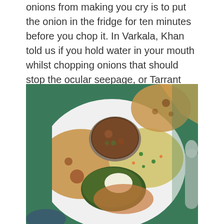onions from making you cry is to put the onion in the fridge for ten minutes before you chop it. In Varkala, Khan told us if you hold water in your mouth whilst chopping onions that should stop the ocular seepage, or Tarrant stops them from making her cry by simply getting me to chop them for her.
[Figure (photo): A plate of Indian food on a white plate with a green tablecloth background. The plate contains rice, chapati/roti flatbread, a small metal bowl with dal/curry, green palak (spinach curry) with a white dollop of cream/paneer, and a curry sauce dish. A spoon is visible on the right side.]